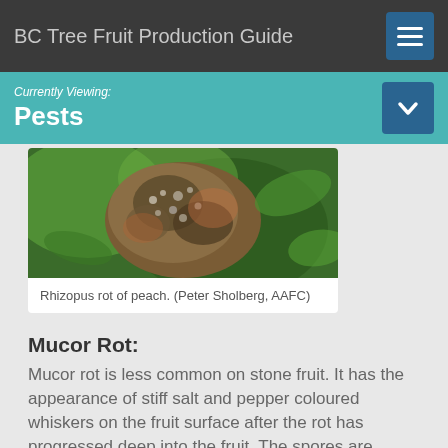BC Tree Fruit Production Guide
Currently Viewing:
Pests
[Figure (photo): Close-up photo of Rhizopus rot on a peach, showing fuzzy mold growth on the fruit surface with green foliage in the background.]
Rhizopus rot of peach. (Peter Sholberg, AAFC)
Mucor Rot:
Mucor rot is less common on stone fruit. It has the appearance of stiff salt and pepper coloured whiskers on the fruit surface after the rot has progressed deep into the fruit. The spores are spread primarily by water, making the dump tank an important source once it has been contaminated by soil. The fungus is able to grow at 0°C and will rot fruit in cold storage.
Diagnosis of post-harvest rots